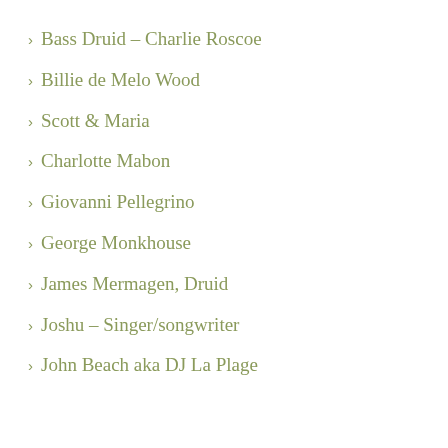Bass Druid – Charlie Roscoe
Billie de Melo Wood
Scott & Maria
Charlotte Mabon
Giovanni Pellegrino
George Monkhouse
James Mermagen, Druid
Joshu – Singer/songwriter
John Beach aka DJ La Plage